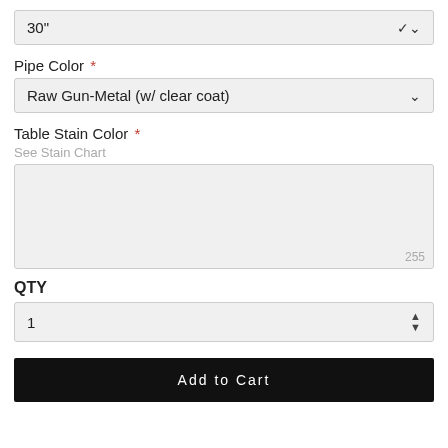30"
Pipe Color *
Raw Gun-Metal (w/ clear coat)
Table Stain Color *
See Stain Chart
255
QTY
1
Add to Cart